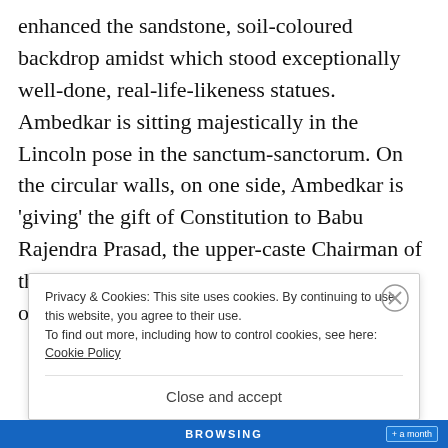enhanced the sandstone, soil-coloured backdrop amidst which stood exceptionally well-done, real-life-likeness statues. Ambedkar is sitting majestically in the Lincoln pose in the sanctum-sanctorum. On the circular walls, on one side, Ambedkar is 'giving' the gift of Constitution to Babu Rajendra Prasad, the upper-caste Chairman of the Indian Constituent Assembly and on the other, Ambedkar is shown receiving the gift of...
Privacy & Cookies: This site uses cookies. By continuing to use this website, you agree to their use.
To find out more, including how to control cookies, see here: Cookie Policy
Close and accept